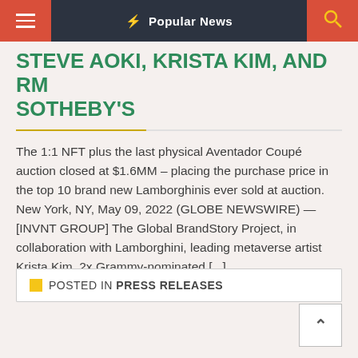Popular News
STEVE AOKI, KRISTA KIM, AND RM SOTHEBY'S
The 1:1 NFT plus the last physical Aventador Coupé auction closed at $1.6MM – placing the purchase price in the top 10 brand new Lamborghinis ever sold at auction. New York, NY, May 09, 2022 (GLOBE NEWSWIRE) — [INVNT GROUP] The Global BrandStory Project, in collaboration with Lamborghini, leading metaverse artist Krista Kim, 2x Grammy-nominated [...]
POSTED IN PRESS RELEASES